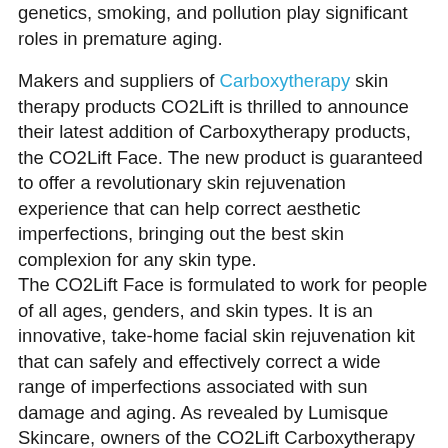genetics, smoking, and pollution play significant roles in premature aging.
Makers and suppliers of Carboxytherapy skin therapy products CO2Lift is thrilled to announce their latest addition of Carboxytherapy products, the CO2Lift Face. The new product is guaranteed to offer a revolutionary skin rejuvenation experience that can help correct aesthetic imperfections, bringing out the best skin complexion for any skin type.
The CO2Lift Face is formulated to work for people of all ages, genders, and skin types. It is an innovative, take-home facial skin rejuvenation kit that can safely and effectively correct a wide range of imperfections associated with sun damage and aging. As revealed by Lumisque Skincare, owners of the CO2Lift Carboxytherapy brand, one unique value proposition that the CO2Lift Face...